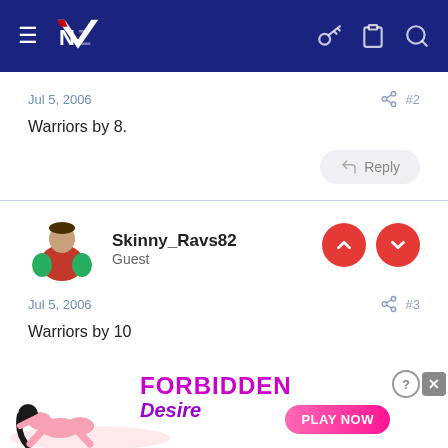NZ Warriors forum navigation bar
Jul 5, 2006   #2
Warriors by 8.
Reply
Skinny_Ravs82
Guest
Jul 5, 2006   #3
Warriors by 10
[Figure (screenshot): Advertisement banner: Forbidden Desire with Play Now button]